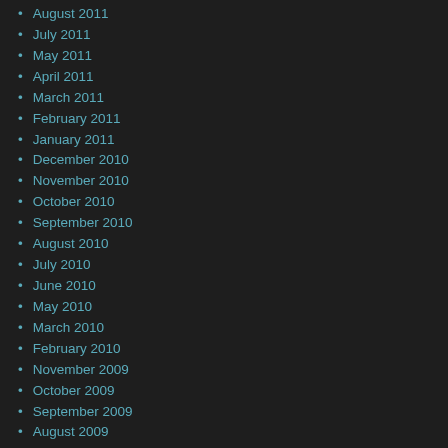August 2011
July 2011
May 2011
April 2011
March 2011
February 2011
January 2011
December 2010
November 2010
October 2010
September 2010
August 2010
July 2010
June 2010
May 2010
March 2010
February 2010
November 2009
October 2009
September 2009
August 2009
July 2009
June 2009
May 2009
April 2009
March 2009